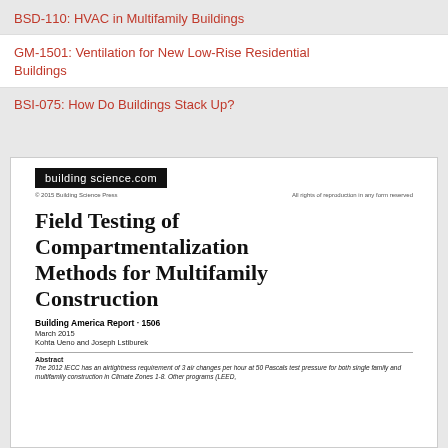BSD-110: HVAC in Multifamily Buildings
GM-1501: Ventilation for New Low-Rise Residential Buildings
BSI-075: How Do Buildings Stack Up?
[Figure (screenshot): Preview of a Building Science Press document cover page showing the buildingscience.com logo, document title 'Field Testing of Compartmentalization Methods for Multifamily Construction', Building America Report - 1506, March 2015, Kohta Ueno and Joseph Lstiburek, and beginning of abstract text.]